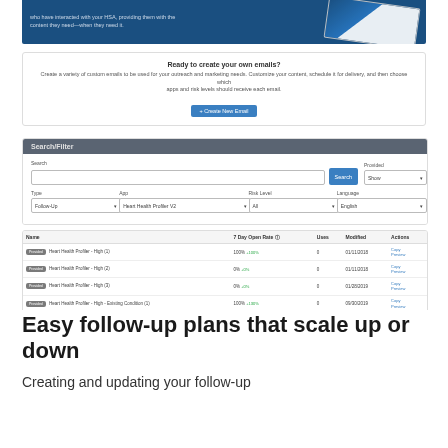[Figure (screenshot): Screenshot of an email marketing platform interface showing: a blue banner at top with text about HSA emails, a white promo box 'Ready to create your own emails?' with a '+ Create New Email' button, a Search/Filter panel with fields for Search, Provided, Type, App, Risk Level, Language, and a results table listing Heart Health Profiler email records with columns Name, 7 Day Open Rate, Uses, Modified, Actions.]
Easy follow-up plans that scale up or down
Creating and updating your follow-up